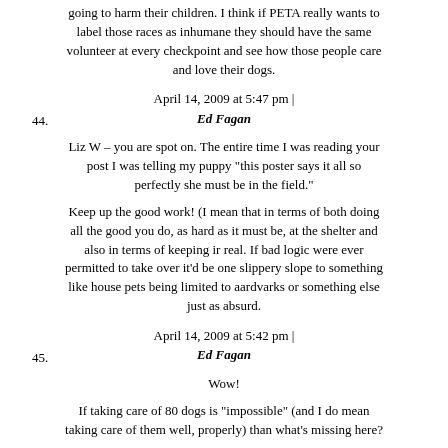going to harm their children. I think if PETA really wants to label those races as inhumane they should have the same volunteer at every checkpoint and see how those people care and love their dogs.
April 14, 2009 at 5:47 pm |
44. Ed Fagan
Liz W – you are spot on. The entire time I was reading your post I was telling my puppy "this poster says it all so perfectly she must be in the field."
Keep up the good work! (I mean that in terms of both doing all the good you do, as hard as it must be, at the shelter and also in terms of keeping ir real. If bad logic were ever permitted to take over it'd be one slippery slope to something like house pets being limited to aardvarks or something else just as absurd.
April 14, 2009 at 5:42 pm |
45. Ed Fagan
Wow!
If taking care of 80 dogs is "impossible" (and I do mean taking care of them well, properly) than what's missing here?